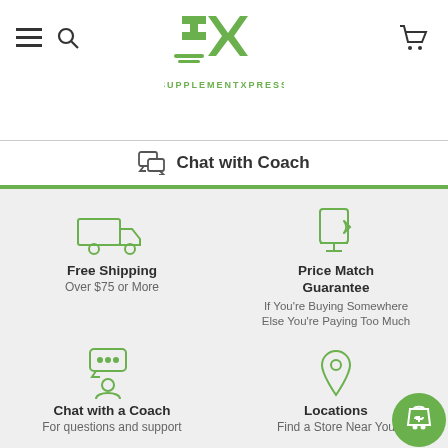[Figure (logo): SupplementXpress green SX logo with text SUPPLEMENTXPRESS below]
Chat with Coach
Free Shipping
Over $75 or More
Price Match Guarantee
If You're Buying Somewhere Else You're Paying Too Much
Chat with a Coach
For questions and support
Locations
Find a Store Near You